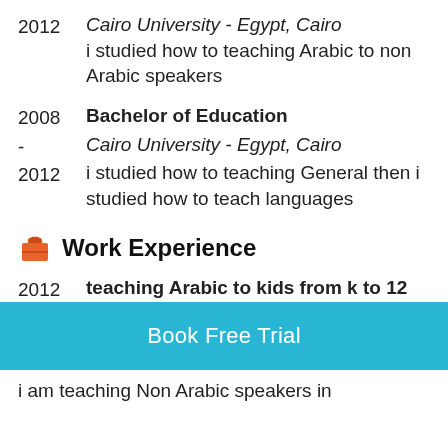2012 | Cairo University - Egypt, Cairo | i studied how to teaching Arabic to non Arabic speakers
2008 - 2012 | Bachelor of Education | Cairo University - Egypt, Cairo | i studied how to teaching General then i studied how to teach languages
Work Experience
2012 - 2015 | teaching Arabic to kids from k to 12 | El nahda School - Egypt, Cairo | i tought kids the grammar and history of the Arabic language
2015 | teaching Arabic to Non Arabic
Book Free Trial
i am teaching Non Arabic speakers in